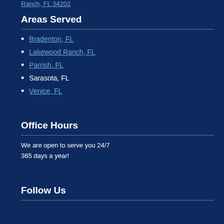Ranch, FL 34202
Areas Served
Bradenton, FL
Lakewood Ranch, FL
Parrish, FL
Sarasota, FL
Venice, FL
Office Hours
We are open to serve you 24/7
365 days a year!
Follow Us